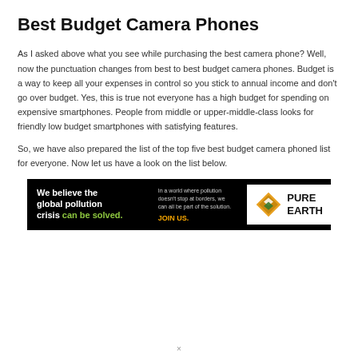Best Budget Camera Phones
As I asked above what you see while purchasing the best camera phone? Well, now the punctuation changes from best to best budget camera phones. Budget is a way to keep all your expenses in control so you stick to annual income and don't go over budget. Yes, this is true not everyone has a high budget for spending on expensive smartphones. People from middle or upper-middle-class looks for friendly low budget smartphones with satisfying features.
So, we have also prepared the list of the top five best budget camera phoned list for everyone. Now let us have a look on the list below.
[Figure (other): Advertisement banner for Pure Earth: 'We believe the global pollution crisis can be solved. In a world where pollution doesn't stop at borders, we can all be part of the solution. JOIN US.' with Pure Earth logo (diamond shape with leaf).]